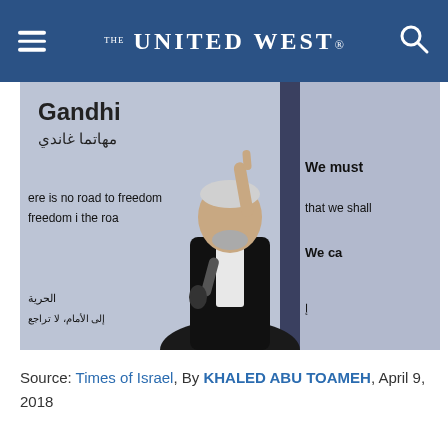THE UNITED WEST
[Figure (photo): A man in a dark suit holding a microphone and pointing upward with one finger, standing in front of a banner with Gandhi quote text in English and Arabic]
Source: Times of Israel, By KHALED ABU TOAMEH, April 9, 2018